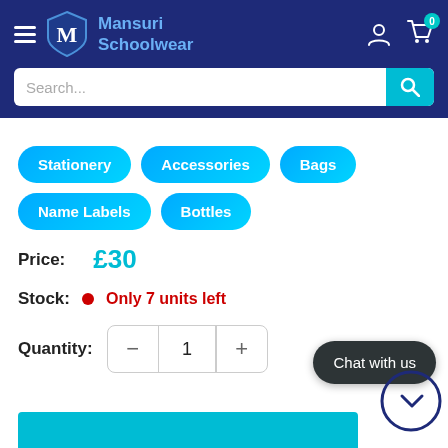Mansuri Schoolwear
Stationery
Accessories
Bags
Name Labels
Bottles
Price: £30
Stock: Only 7 units left
Quantity: 1